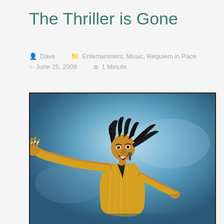The Thriller is Gone
Dave   Entertainment, Music, Requiem in Pace   June 25, 2009   1 Minute
[Figure (photo): Michael Jackson performing on stage, wearing a gold outfit, reaching out with one arm outstretched toward the camera, black curly hair flying, mouth open, against a blue-lit background.]